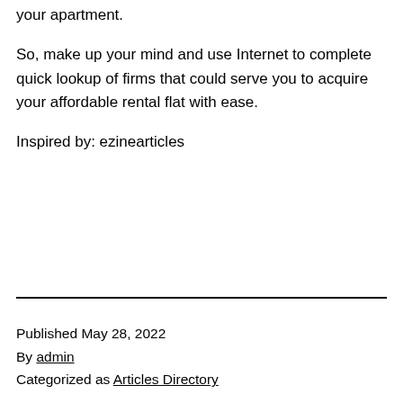your apartment.
So, make up your mind and use Internet to complete quick lookup of firms that could serve you to acquire your affordable rental flat with ease.
Inspired by: ezinearticles
Published May 28, 2022
By admin
Categorized as Articles Directory